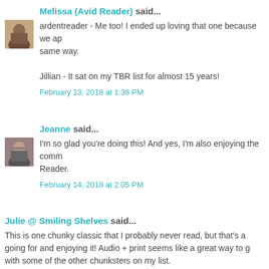Melissa (Avid Reader) said...
ardentreader - Me too! I ended up loving that one because we ap same way.

Jillian - It sat on my TBR list for almost 15 years!
February 13, 2018 at 1:38 PM
Jeanne said...
I'm so glad you're doing this! And yes, I'm also enjoying the comm Reader.
February 14, 2018 at 2:05 PM
Julie @ Smiling Shelves said...
This is one chunky classic that I probably never read, but that's a going for and enjoying it! Audio + print seems like a great way to g with some of the other chunksters on my list.
February 18, 2018 at 3:50 PM